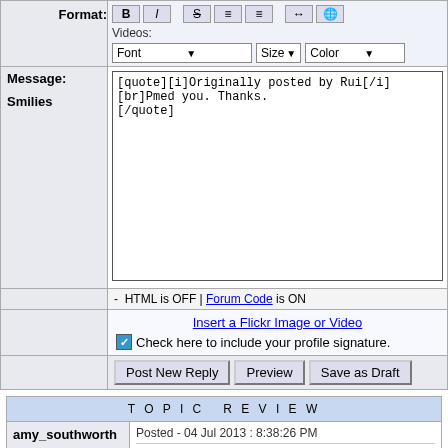[Figure (screenshot): Forum post reply editor with Format toolbar (Bold, Italic, Strikethrough, alignment buttons, arrow, globe icon), Videos label, Font/Size/Color dropdowns, Message label, Smilies label, text area containing BBcode quote text, HTML is OFF / Forum Code is ON notice, Insert a Flickr Image or Video link, checkbox for profile signature, and Post New Reply / Preview / Save as Draft buttons.]
| TOPIC REVIEW |
| --- |
| amy_southworth | Posted - 04 Jul 2013 : 8:38:26 PM
Hi |
[quote][i]Originally posted by Rui[/i]
[br]Pmed you. Thanks.
[/quote]
- HTML is OFF | Forum Code is ON
Insert a Flickr Image or Video
Check here to include your profile signature.